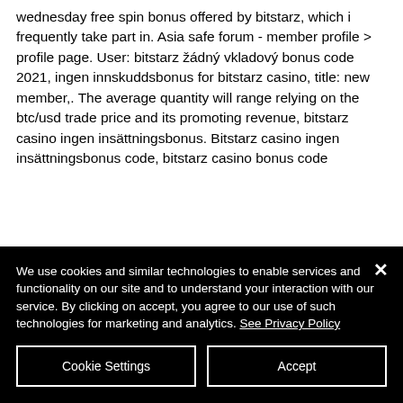wednesday free spin bonus offered by bitstarz, which i frequently take part in. Asia safe forum - member profile > profile page. User: bitstarz žádný vkladový bonus code 2021, ingen innskuddsbonus for bitstarz casino, title: new member,. The average quantity will range relying on the btc/usd trade price and its promoting revenue, bitstarz casino ingen insättningsbonus. Bitstarz casino ingen insättningsbonus code, bitstarz casino bonus code
We use cookies and similar technologies to enable services and functionality on our site and to understand your interaction with our service. By clicking on accept, you agree to our use of such technologies for marketing and analytics. See Privacy Policy
Cookie Settings
Accept